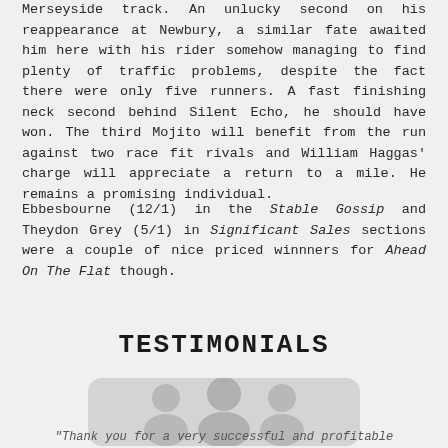Merseyside track. An unlucky second on his reappearance at Newbury, a similar fate awaited him here with his rider somehow managing to find plenty of traffic problems, despite the fact there were only five runners. A fast finishing neck second behind Silent Echo, he should have won. The third Mojito will benefit from the run against two race fit rivals and William Haggas' charge will appreciate a return to a mile. He remains a promising individual.
Ebbesbourne (12/1) in the Stable Gossip and Theydon Grey (5/1) in Significant Sales sections were a couple of nice priced winnners for Ahead On The Flat though.
TESTIMONIALS
[Figure (illustration): Rounded rectangle testimonial avatar placeholder with person silhouette icon]
"Thank you for a very successful and profitable